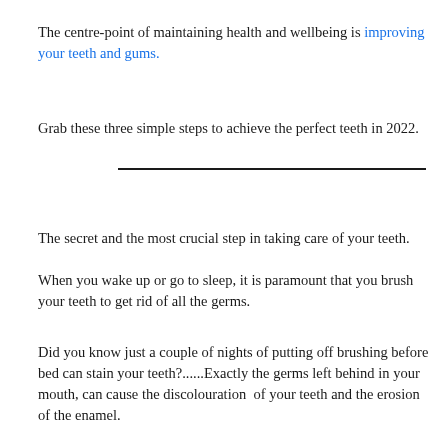The centre-point of maintaining health and wellbeing is improving your teeth and gums.
Grab these three simple steps to achieve the perfect teeth in 2022.
The secret and the most crucial step in taking care of your teeth.
When you wake up or go to sleep, it is paramount that you brush your teeth to get rid of all the germs.
Did you know just a couple of nights of putting off brushing before bed can stain your teeth?......Exactly the germs left behind in your mouth, can cause the discolouration  of your teeth and the erosion of the enamel.